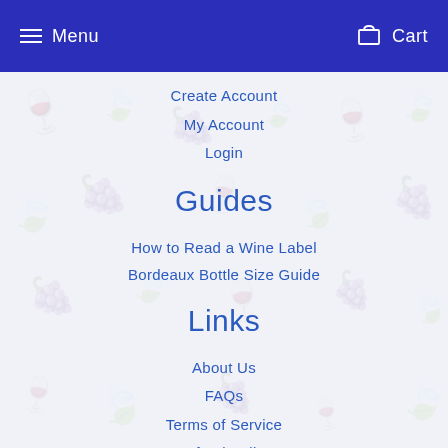Menu   Cart
Create Account
My Account
Login
Guides
How to Read a Wine Label
Bordeaux Bottle Size Guide
Links
About Us
FAQs
Terms of Service
Refund Policy
Privacy Policy